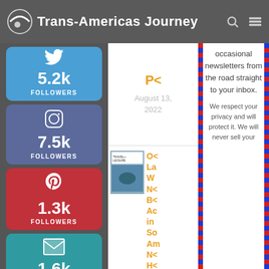Trans-Americas Journey
[Figure (infographic): Social media follower counts: Twitter 5.2k, Instagram 7.5k, Pinterest 1.3k, Email 1.6k subscribers]
[Figure (screenshot): Blog post snippet with date August 13, 2022 and a Travel+Leisure magazine thumbnail with orange text link]
occasional newsletters from the road straight to your inbox. We respect your privacy and will protect it. We will never sell your